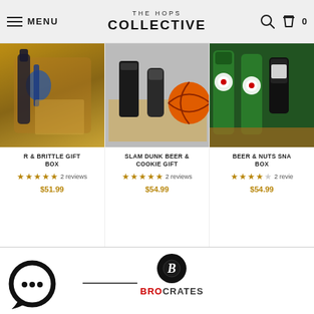THE HOPS COLLECTIVE — MENU — Cart 0
[Figure (photo): Product photo of Beer & Brittle Gift Box — wine bottle with blue ribbon and snacks in a wooden box]
R & BRITTLE GIFT BOX
★★★★★ 2 reviews
$51.99
[Figure (photo): Product photo of Slam Dunk Beer & Cookie Gift — beer can, dark tumbler, basketball cookie in a box]
SLAM DUNK BEER & COOKIE GIFT
★★★★★ 2 reviews
$54.99
[Figure (photo): Product photo of Beer & Nuts Snack Box — Heineken bottles, Naked snack, other items in a gift box]
BEER & NUTS SNA BOX
★★★★☆ 2 reviews
$54.99
[Figure (logo): BroCrates logo — black billiard ball with cursive B, text BROCRATES in red and dark]
[Figure (illustration): Chat bubble icon with three dots]